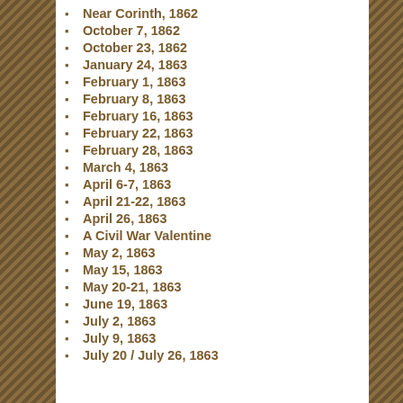Near Corinth, 1862
October 7, 1862
October 23, 1862
January 24, 1863
February 1, 1863
February 8, 1863
February 16, 1863
February 22, 1863
February 28, 1863
March 4, 1863
April 6-7, 1863
April 21-22, 1863
April 26, 1863
A Civil War Valentine
May 2, 1863
May 15, 1863
May 20-21, 1863
June 19, 1863
July 2, 1863
July 9, 1863
July 20 / July 26, 1863